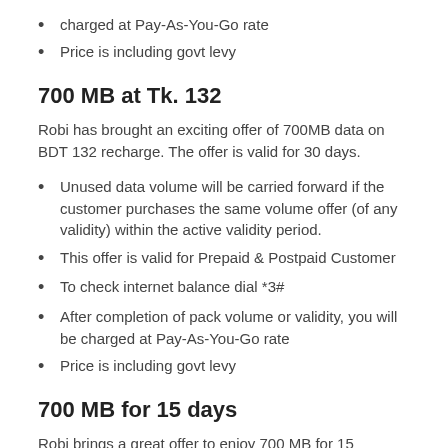charged at Pay-As-You-Go rate
Price is including govt levy
700 MB at Tk. 132
Robi has brought an exciting offer of 700MB data on BDT 132 recharge. The offer is valid for 30 days.
Unused data volume will be carried forward if the customer purchases the same volume offer (of any validity) within the active validity period.
This offer is valid for Prepaid & Postpaid Customer
To check internet balance dial *3#
After completion of pack volume or validity, you will be charged at Pay-As-You-Go rate
Price is including govt levy
700 MB for 15 days
Robi brings a great offer to enjoy 700 MB for 15